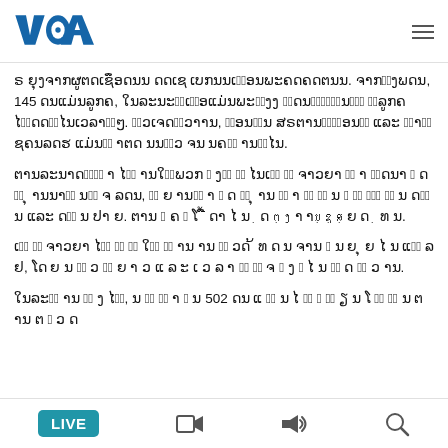VOA
ຣ ຍຸງຈາກຜູຕດເຊຶອດນນ ດດເຊ ເບກນນເມ຺ອນພະຄດຄດຕນນ. ຈາກຫ຺ງພດນ, 145 ດນແມ່ນລູກຄ, ໃນລະນະຊ຺ເຊ຺ອແມ່ນພະນ຺ງງ ຊ຺ດນຊ຺ຢ຺ກ຺ນຜ຺ູ ຊ຺ລູກຄ ໄດ຺ດດຕ຺ໄນເວລາຕ຺ໆ. ຊ຺ວເຈດຊ຺ວາານ, ພ຺ອນຫ຺ນ ສຣຕານຊ຺ຊ຺ອນນ຺ and ຊ຺ານ຺ ຊຄນລດຮ ແມ່ນຊ຺ າຕດ ນນກ຺ວ ຈນ ນຄຈ຺ ານຕ຺ໄນ.
ຕານລະນາດຕ຺ງ຺ າ ໄດ຺ ານໃຊ຺ພວກ ຺ ງຄ຺ ຊ຺ ໄນເນ຺ ອ຺ ຈາວຍາ  ຊ຺ າ ຢ຺ດນາ ຺ ດ ຊ຺ ຸ ານນາສ຺ ນຊ຺ ຈ ລດນ, ດ຺ ຍ ານຢ຺ າ ຺ ດ ນ຺ ຸ ານ ຊ຺ າ ລ຺ ສ຺ ນ ຺ ສ຺ ຢ຺ູ ຊ຺ ນ ດຊ຺ ນ ຺ ມດ ຊ຺ ນ ປາ ຍ. ຕານ ຺ ຄ ຺ ໂ  ້ ືຮ ດາ ໄ ນ ຺ ດ ຕ຺ ງ຺ າ ານ຺ ຊ຺ ສ຺ ຍ  ດ ຺ ທ ນ.
ເນ຺ ອ຺ ຈາວຍາ  ໄດ຺ ສ຺ ງ຺ ໃຊ຺ ຊ຺ ານ ານ ຊ຺ ວດ ້ ທ ດ ນ ຈານ ຺ ນ ຍ ຸ ຍ ໄ ນ ແຕ຺ ລ ລ ຢ, ໂດ ຍ ນ ແ຺ ວ ຊ຺ ຍ າ ວ  ແ ລ ະ ເ ວ ລ າ ລ຺ ສ຺ ຈ ຺ ງ ຺ ໄ ນ ຊ຺ ດ ຊ຺ ວ ານ.
ໃນລະດ຺ ານ ຊ຺ ງ ໄຮ຺, ນ ລ຺ ຊ຺ າ ຺ ນ 502 ດນ ແ ມ຺ ນ ໄ ດ຺ ຺ ຊ຺ ຽ ນ ໂ ຍ຺ ກ຺ ນ ຕ ານ ຕ ຺ ວ ດ
LIVE